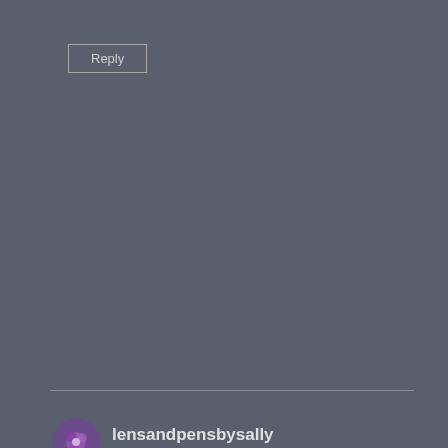Reply
[Figure (photo): Circular avatar icon with purple/violet flower or crystal image]
lensandpensbysally
October 17, 2016 at 8:04 am
Thanks for becoming a subscriber. Happy blogging.
Privacy & Cookies: This site uses cookies. By continuing to use this website, you agree to their use.
To find out more, including how to control cookies, see here: Cookie Policy
Close and accept